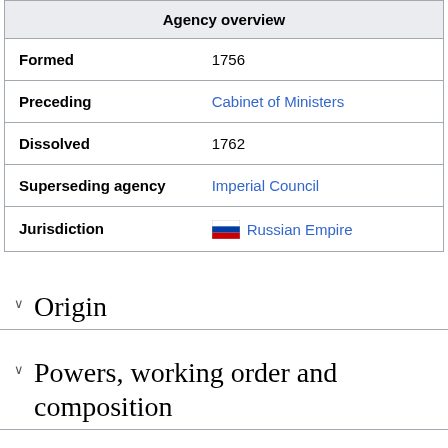| Agency overview |
| --- |
| Formed | 1756 |
| Preceding | Cabinet of Ministers |
| Dissolved | 1762 |
| Superseding agency | Imperial Council |
| Jurisdiction | Russian Empire |
Origin
Powers, working order and composition
Activity